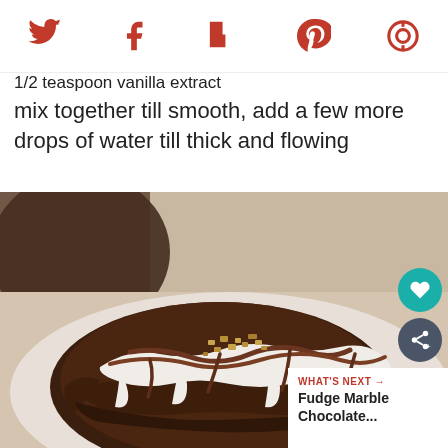Social sharing icons: Twitter, Facebook, Flipboard, Pinterest, Camera/other
1/2 teaspoon vanilla extract
mix together till smooth, add a few more drops of water till thick and flowing
[Figure (photo): Close-up photo of a chocolate brownie topped with white vanilla glaze drizzled with chocolate sauce and crushed toffee/nut bits, served on a white plate]
WHAT'S NEXT → Fudge Marble Chocolate...